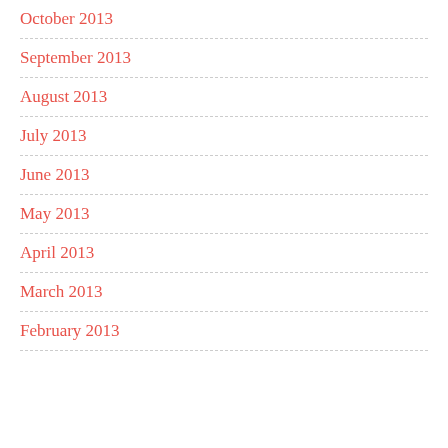October 2013
September 2013
August 2013
July 2013
June 2013
May 2013
April 2013
March 2013
February 2013